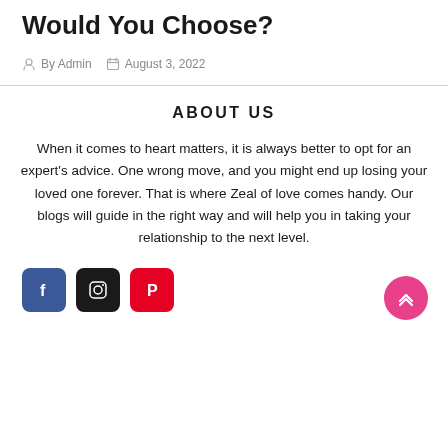Would You Choose?
By Admin   August 3, 2022
ABOUT US
When it comes to heart matters, it is always better to opt for an expert's advice. One wrong move, and you might end up losing your loved one forever. That is where Zeal of love comes handy. Our blogs will guide in the right way and will help you in taking your relationship to the next level.
[Figure (infographic): Social media icons: Facebook (blue), Instagram (black), Pinterest (red), and a pink scroll-to-top button]